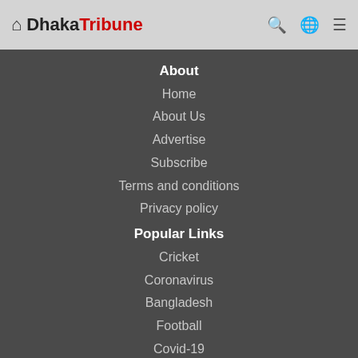Dhaka Tribune
About
Home
About Us
Advertise
Subscribe
Terms and conditions
Privacy policy
Popular Links
Cricket
Coronavirus
Bangladesh
Football
Covid-19
India
Donald Trump
Connect With Us